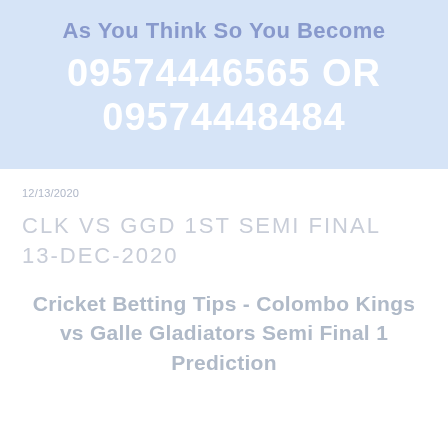[Figure (infographic): Light blue banner with tagline 'As You Think So You Become' and phone numbers 09574446565 OR 09574448484 in white bold text]
12/13/2020
CLK VS GGD 1ST SEMI FINAL 13-DEC-2020
Cricket Betting Tips - Colombo Kings vs Galle Gladiators Semi Final 1 Prediction